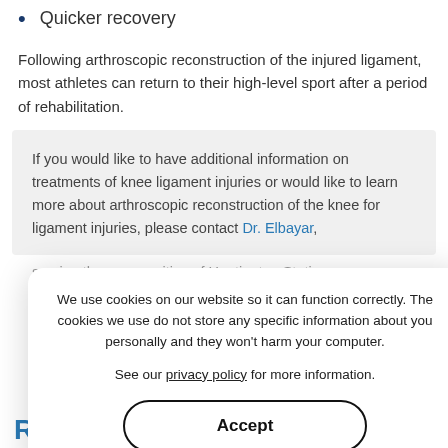Quicker recovery
Following arthroscopic reconstruction of the injured ligament, most athletes can return to their high-level sport after a period of rehabilitation.
If you would like to have additional information on treatments of knee ligament injuries or would like to learn more about arthroscopic reconstruction of the knee for ligament injuries, please contact Dr. Elbayar, serving the communities of Huntington Station, Bethpage, Riverhead, NY
We use cookies on our website so it can function correctly. The cookies we use do not store any specific information about you personally and they won't harm your computer.

See our privacy policy for more information.
Accept
Related Topics